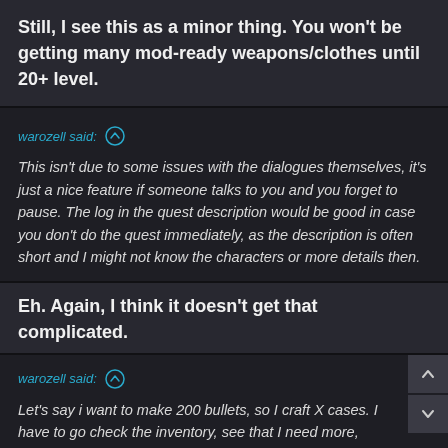Still, I see this as a minor thing. You won't be getting many mod-ready weapons/clothes until 20+ level.
warozell said: ↑
This isn't due to some issues with the dialogues themselves, it's just a nice feature if someone talks to you and you forget to pause. The log in the quest description would be good in case you don't do the quest immediately, as the description is often short and I might not know the characters or more details then.
Eh. Again, I think it doesn't get that complicated.
warozell said: ↑
Let's say i want to make 200 bullets, so I craft X cases. I have to go check the inventory, see that I need more, craft more, and finally I'm done. The player shouldn't have the